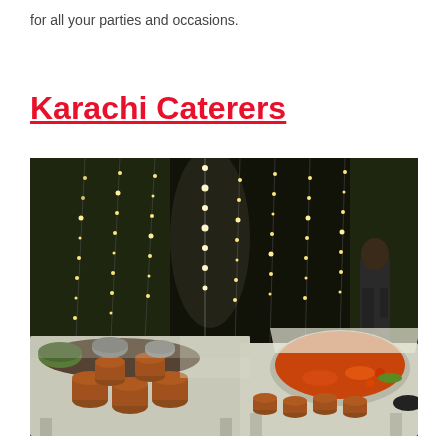for all your parties and occasions.
Karachi Caterers
[Figure (photo): A catering setup at an outdoor evening event. Two tables display clay pots, bowls of food, and a large tray of orange curry/chana dish garnished with vegetables. String fairy lights hang in the background against dark foliage. A man in dark clothing stands to the right.]